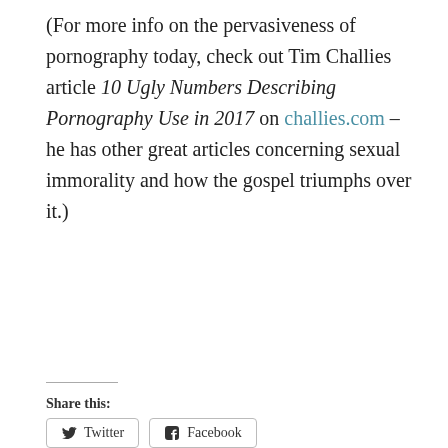(For more info on the pervasiveness of pornography today, check out Tim Challies article 10 Ugly Numbers Describing Pornography Use in 2017 on challies.com – he has other great articles concerning sexual immorality and how the gospel triumphs over it.)
Share this:
Twitter  Facebook
Loading...
Related
Designed for Purity 6 – Dating and Relationships (Notes)
Designed for Purity 7 – God's Design for Sex (Notes)